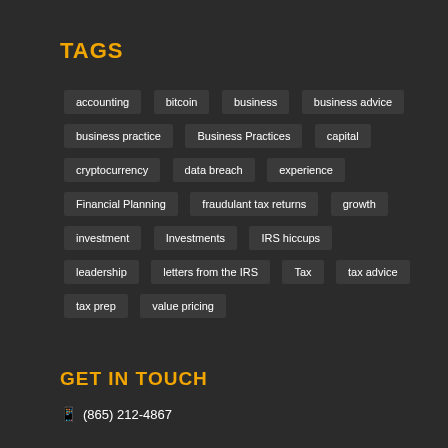TAGS
accounting
bitcoin
business
business advice
business practice
Business Practices
capital
cryptocurrency
data breach
experience
Financial Planning
fraudulant tax returns
growth
investment
Investments
IRS hiccups
leadership
letters from the IRS
Tax
tax advice
tax prep
value pricing
GET IN TOUCH
(865) 212-4867